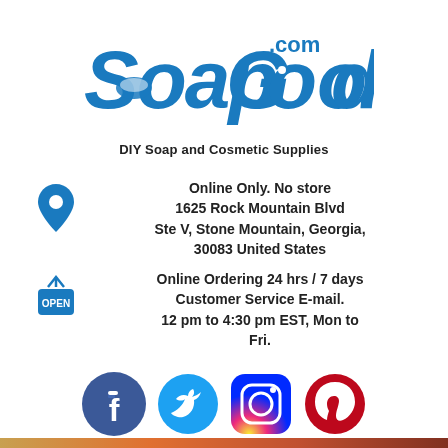[Figure (logo): SoapGoods.com logo with blue stylized text and soap dish icon, tagline: DIY Soap and Cosmetic Supplies]
Online Only. No store
1625 Rock Mountain Blvd
Ste V, Stone Mountain, Georgia, 30083 United States
Online Ordering 24 hrs / 7 days
Customer Service E-mail.
12 pm to 4:30 pm EST, Mon to Fri.
wecare@soapgoods.com
[Figure (other): Social media icons: Facebook, Twitter, Instagram, Pinterest]